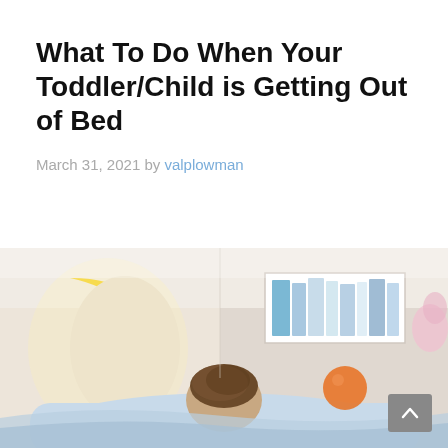What To Do When Your Toddler/Child is Getting Out of Bed
March 31, 2021 by valplowman
[Figure (photo): A toddler/child lying in a bed in a nursery room with a yellow crescent moon lamp, colorful decorations including an orange ball ornament, and a bookshelf with books in the background. The child is viewed from above, partially covered by light blue bedding.]